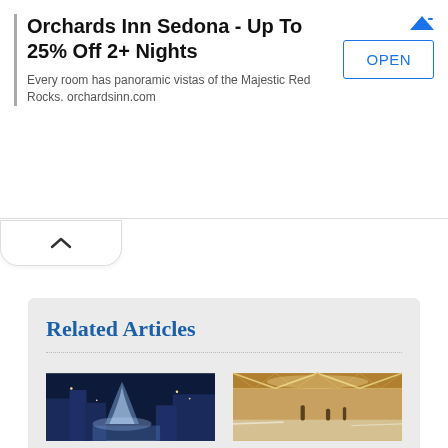[Figure (screenshot): Advertisement banner for Orchards Inn Sedona with title, description, and OPEN button]
Orchards Inn Sedona - Up To 25% Off 2+ Nights
Every room has panoramic vistas of the Majestic Red Rocks. orchardsinn.com
Related Articles
[Figure (photo): Photo of Bellagio Fountains at night in Las Vegas]
Bellagio Fountains
[Figure (photo): Photo of Bellagio interior shopping area]
Bellagio Promo Codes